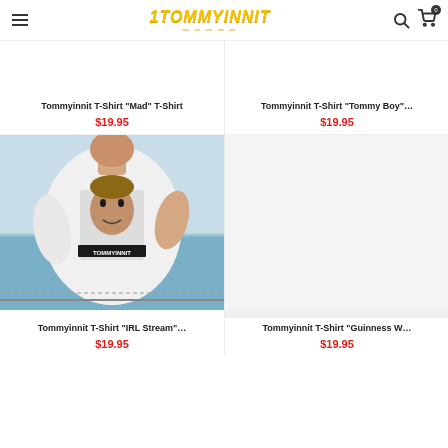TOMMYINNIT
Tommyinnit T-Shirt "Mad" T-Shirt
$19.95
Tommyinnit T-Shirt "Tommy Boy"...
$19.95
[Figure (photo): Person wearing a white Tommyinnit t-shirt with a face graphic and TOMMYINNIT text, standing near water]
[Figure (photo): Product image placeholder for Tommyinnit T-Shirt Guinness W...]
Tommyinnit T-Shirt "IRL Stream"...
$19.95
Tommyinnit T-Shirt "Guinness W...
$19.95